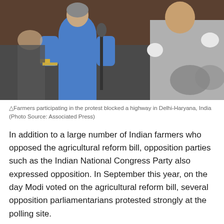[Figure (photo): People in a parliament or assembly hall, one person in blue clothing visible, appears to be a scene of protest or commotion at a polling/voting session in India]
△Farmers participating in the protest blocked a highway in Delhi-Haryana, India (Photo Source: Associated Press)
In addition to a large number of Indian farmers who opposed the agricultural reform bill, opposition parties such as the Indian National Congress Party also expressed opposition. In September this year, on the day Modi voted on the agricultural reform bill, several opposition parliamentarians protested strongly at the polling site.
It is reported that on the day of the vote, the Indian House of Lords was forced to adjourn for 15 minutes, but the opposition MP's behavior did not prevent the passage of the bill. Instead, the bill was not only passed quickly, but